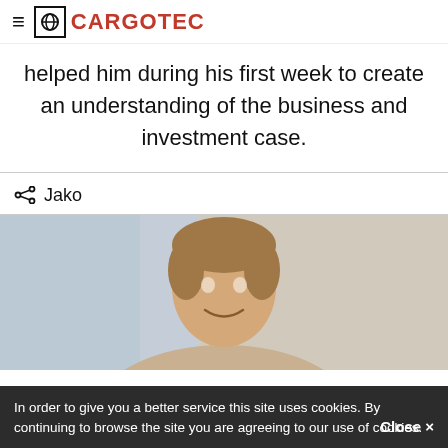CARGOTEC
helped him during his first week to create an understanding of the business and investment case.
Jako
[Figure (photo): Portrait photo of a young man with light brown hair, smiling, in a professional/office setting with a blurred background.]
In order to give you a better service this site uses cookies. By continuing to browse the site you are agreeing to our use of cookies. Close ×